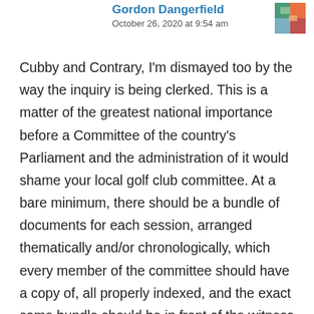Gordon Dangerfield
October 26, 2020 at 9:54 am
Cubby and Contrary, I'm dismayed too by the way the inquiry is being clerked. This is a matter of the greatest national importance before a Committee of the country's Parliament and the administration of it would shame your local golf club committee. At a bare minimum, there should be a bundle of documents for each session, arranged thematically and/or chronologically, which every member of the committee should have a copy of, all properly indexed, and the exact same bundle should be in front of the witness giving evidence. If the Committee members struggle to find the document they want, the clerks should help. It's what happens as a matter of routine in every court and tribunal in the land, and it's really not rocket